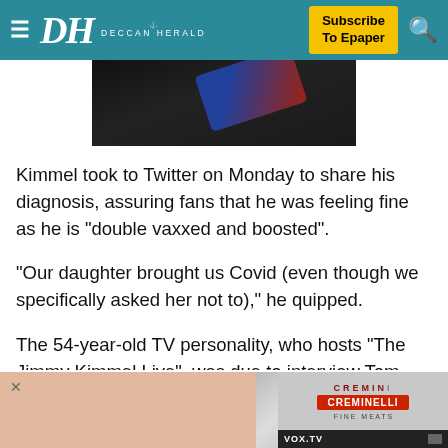DH DECCAN HERALD — Subscribe To Epaper
[Figure (photo): Dark background with a credit card partially visible, angled view]
Kimmel took to Twitter on Monday to share his diagnosis, assuring fans that he was feeling fine as he is "double vaxxed and boosted".
"Our daughter brought us Covid (even though we specifically asked her not to)," he quipped.
The 54-year-old TV personality, who hosts "The Jimmy Kimmel Live", was due to interview Tom Cruise and comic Iliza Shlesinger along with musical guest Parquet Courts on his show.
[Figure (photo): Creminelli advertisement banner at bottom of page with VOX.TV label]